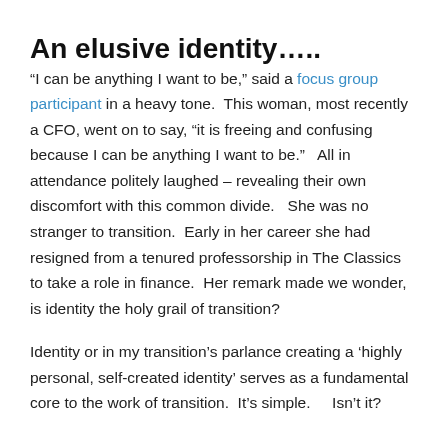An elusive identity…..
“I can be anything I want to be,” said a focus group participant in a heavy tone.  This woman, most recently a CFO, went on to say, “it is freeing and confusing because I can be anything I want to be.”   All in attendance politely laughed – revealing their own discomfort with this common divide.   She was no stranger to transition.  Early in her career she had resigned from a tenured professorship in The Classics to take a role in finance.  Her remark made we wonder, is identity the holy grail of transition?
Identity or in my transition’s parlance creating a ‘highly personal, self-created identity’ serves as a fundamental core to the work of transition.  It’s simple.     Isn’t it?